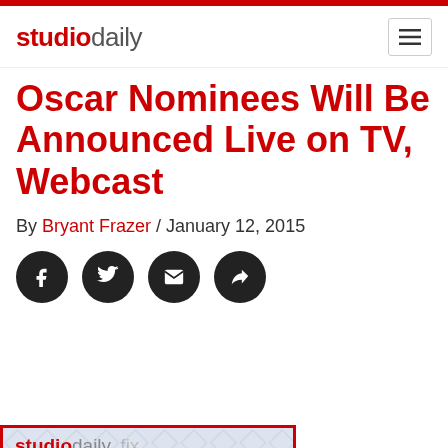studiodaily
Oscar Nominees Will Be Announced Live on TV, Webcast
By Bryant Frazer / January 12, 2015
[Figure (other): Social sharing icons: Facebook, Twitter, Email, Share]
[Figure (infographic): studiodaily fix advertisement panel. Text: Keeping you in the know: product news and reviews, emerging workflows, and creative ideas.]